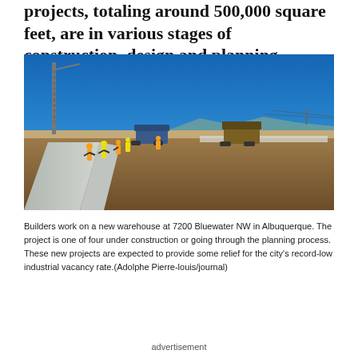projects, totaling around 500,000 square feet, are in various stages of construction, design and planning.
[Figure (photo): Construction workers in high-visibility vests working on a new warehouse at 7200 Bluewater NW in Albuquerque. A concrete slab or sidewalk is being laid in the foreground, with heavy equipment visible in the background. A crane tower is visible on the left, and a clear blue sky fills the upper portion of the image.]
Builders work on a new warehouse at 7200 Bluewater NW in Albuquerque. The project is one of four under construction or going through the planning process. These new projects are expected to provide some relief for the city's record-low industrial vacancy rate.(Adolphe Pierre-louis/journal)
advertisement